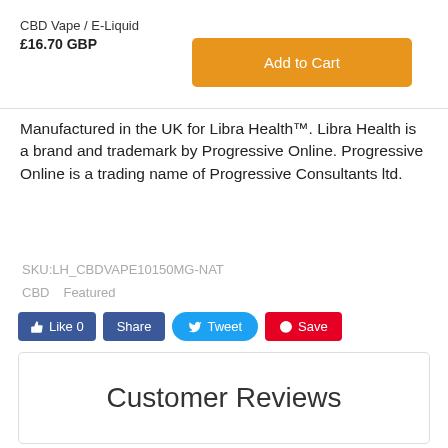CBD Vape / E-Liquid
£16.70 GBP
[Figure (other): Orange 'Add to Cart' button]
Manufactured in the UK for Libra Health™.  Libra Health is a brand and trademark by Progressive Online.  Progressive Online is a trading name of Progressive Consultants ltd.
SKU:LH_CBDVAPE10150MG-NAT
CBD   Featured
[Figure (other): Social media buttons: Like 0, Share, Tweet, Save]
Customer Reviews